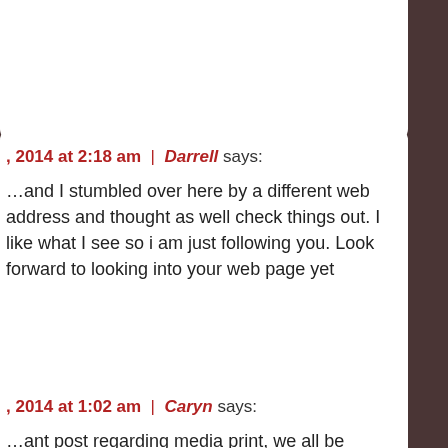, 2014 at 2:18 am | Darrell says: ...and I stumbled over here by a different web address and thought as well check things out. I like what I see so i am just following you. Look forward to looking into your web page yet
, 2014 at 1:02 am | Caryn says: ...ant post regarding media print, we all be aware of media ...ve source of data.